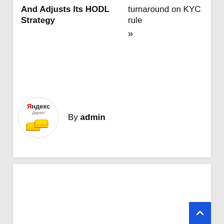And Adjusts Its HODL Strategy
turnaround on KYC rule »
[Figure (logo): Yandex Direct logo with gold bars image in a circular avatar]
By admin
RELATED POST